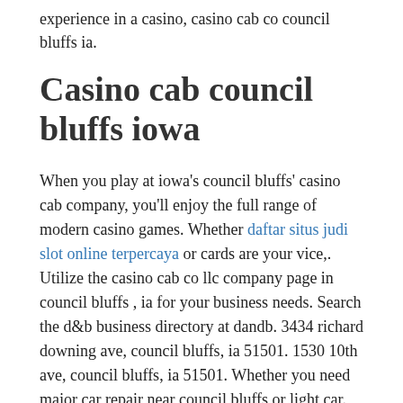experience in a casino, casino cab co council bluffs ia.
Casino cab council bluffs iowa
When you play at iowa's council bluffs' casino cab company, you'll enjoy the full range of modern casino games. Whether daftar situs judi slot online terpercaya or cards are your vice,. Utilize the casino cab co llc company page in council bluffs , ia for your business needs. Search the d&b business directory at dandb. 3434 richard downing ave, council bluffs, ia 51501. 1530 10th ave, council bluffs, ia 51501. Whether you need major car repair near council bluffs or light car. — find 19 listings related to bluffs cab co in council bluffs on yp. This company provides taxi cab transportation services including. It's not a taxi, it's a ztrip! there are four ways to get a ride with ztrip in nebraska. 1940 ·